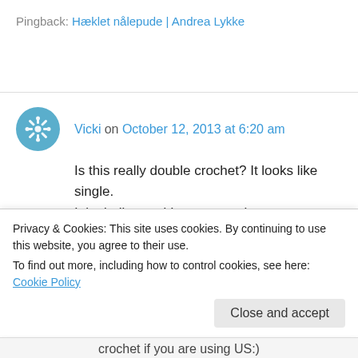Pingback: Hæklet nålepude | Andrea Lykke
Vicki on October 12, 2013 at 6:20 am
Is this really double crochet? It looks like single. It is darling and I want to make one
↩ Reply
Privacy & Cookies: This site uses cookies. By continuing to use this website, you agree to their use. To find out more, including how to control cookies, see here: Cookie Policy
Close and accept
crochet if you are using US:)